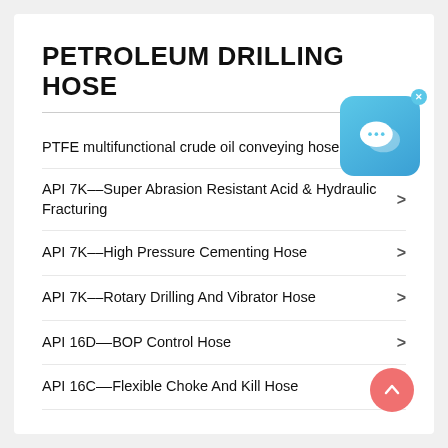PETROLEUM DRILLING HOSE
PTFE multifunctional crude oil conveying hose
API 7K––Super Abrasion Resistant Acid & Hydraulic Fracturing
API 7K––High Pressure Cementing Hose
API 7K––Rotary Drilling And Vibrator Hose
API 16D––BOP Control Hose
API 16C––Flexible Choke And Kill Hose